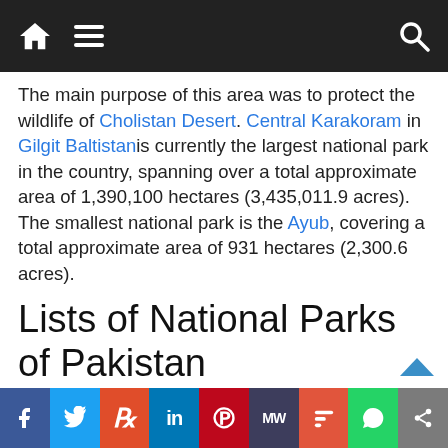Navigation bar with home, menu, and search icons
The main purpose of this area was to protect the wildlife of Cholistan Desert. Central Karakoram in Gilgit Baltistan is currently the largest national park in the country, spanning over a total approximate area of 1,390,100 hectares (3,435,011.9 acres). The smallest national park is the Ayub, covering a total approximate area of 931 hectares (2,300.6 acres).
Lists of National Parks of Pakistan
1. Ayub
2. Ayubia
Social share bar: Facebook, Twitter, Reddit, LinkedIn, Pinterest, MW, Mix, WhatsApp, Share